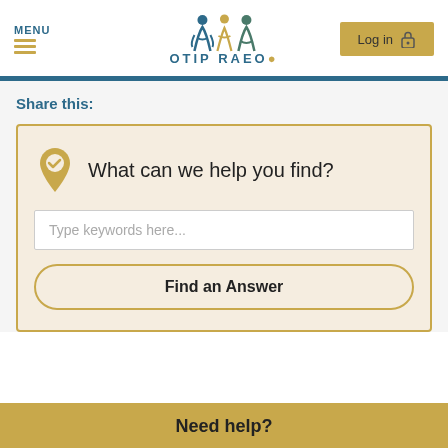MENU | OTIP RAEO | Log in
Share this:
[Figure (screenshot): Search widget with location pin icon, heading 'What can we help you find?', a text input placeholder 'Type keywords here...', and a 'Find an Answer' button]
Need help?